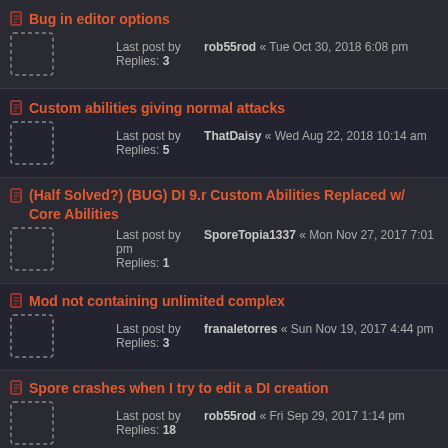Bug in editor options
Last post by rob55rod « Tue Oct 30, 2018 6:08 pm
Replies: 3
Custom abilities giving normal attacks
Last post by ThatDaisy « Wed Aug 22, 2018 10:14 am
Replies: 5
(Half Solved?) (BUG) DI 9.r Custom Abilities Replaced w/ Core Abilities
Last post by SporeTopia1337 « Mon Nov 27, 2017 7:01 pm
Replies: 1
Mod not containing unlimited complex
Last post by franaletorres « Sun Nov 19, 2017 4:44 pm
Replies: 3
Spore crashes when I try to edit a DI creation
Last post by rob55rod « Fri Sep 29, 2017 1:14 pm
Replies: 18